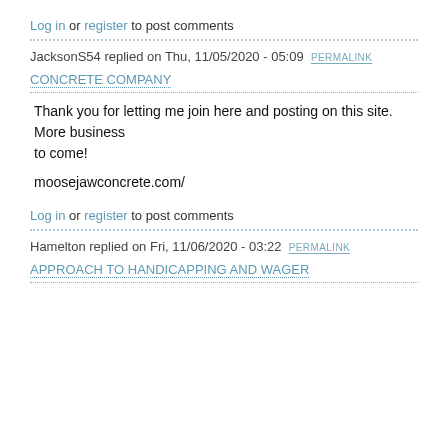Log in or register to post comments
JacksonS54 replied on Thu, 11/05/2020 - 05:09 PERMALINK
CONCRETE COMPANY
Thank you for letting me join here and posting on this site. More business to come!
moosejawconcrete.com/
Log in or register to post comments
Hamelton replied on Fri, 11/06/2020 - 03:22 PERMALINK
APPROACH TO HANDICAPPING AND WAGER